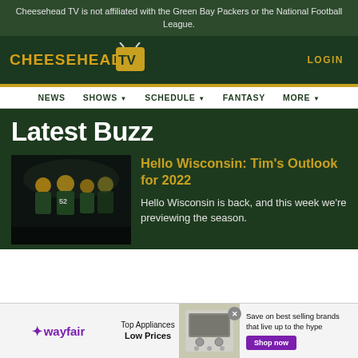Cheesehead TV is not affiliated with the Green Bay Packers or the National Football League.
[Figure (logo): Cheesehead TV logo with yellow stylized text and TV icon]
LOGIN
NEWS  SHOWS  SCHEDULE  FANTASY  MORE
Latest Buzz
[Figure (photo): Green Bay Packers players in yellow helmets on a dark field]
Hello Wisconsin: Tim's Outlook for 2022
Hello Wisconsin is back, and this week we're previewing the season.
[Figure (infographic): Wayfair advertisement banner: Top Appliances Low Prices, Save on best selling brands that live up to the hype, Shop now button]